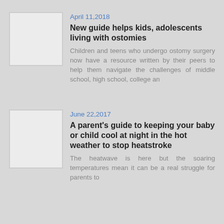April 11,2018
New guide helps kids, adolescents living with ostomies
Children and teens who undergo ostomy surgery now have a resource written by their peers to help them navigate the challenges of middle school, high school, college an
[Figure (photo): Thumbnail image placeholder for ostomy guide article]
June 22,2017
A parent's guide to keeping your baby or child cool at night in the hot weather to stop heatstroke
The heatwave is here but the soaring temperatures mean it can be a real struggle for parents to
[Figure (photo): Thumbnail image placeholder for heatstroke article]